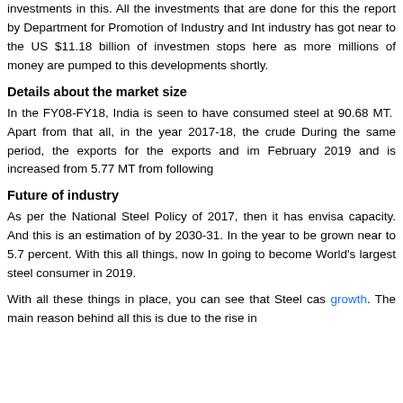investments in this. All the investments that are done for this the report by Department for Promotion of Industry and Int industry has got near to the US $11.18 billion of investmen stops here as more millions of money are pumped to this developments shortly.
Details about the market size
In the FY08-FY18, India is seen to have consumed steel at 90.68 MT. Apart from that all, in the year 2017-18, the crude During the same period, the exports for the exports and im February 2019 and is increased from 5.77 MT from following
Future of industry
As per the National Steel Policy of 2017, then it has envisa capacity. And this is an estimation of by 2030-31. In the year to be grown near to 5.7 percent. With this all things, now In going to become World's largest steel consumer in 2019.
With all these things in place, you can see that Steel cas growth. The main reason behind all this is due to the rise in